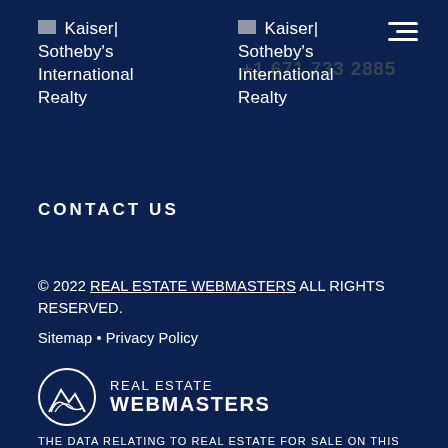[Figure (logo): Kaiser Sotheby's International Realty logo (broken image placeholder with text) - first instance]
[Figure (logo): Kaiser Sotheby's International Realty logo (broken image placeholder with text) - second instance]
[Figure (other): Hamburger menu icon (three horizontal lines) in top right corner]
CONTACT US
© 2022 REAL ESTATE WEBMASTERS ALL RIGHTS RESERVED.
Sitemap • Privacy Policy
[Figure (logo): Real Estate Webmasters logo with circular mountain/sail icon and text REAL ESTATE WEBMASTERS]
THE DATA RELATING TO REAL ESTATE FOR SALE ON THIS